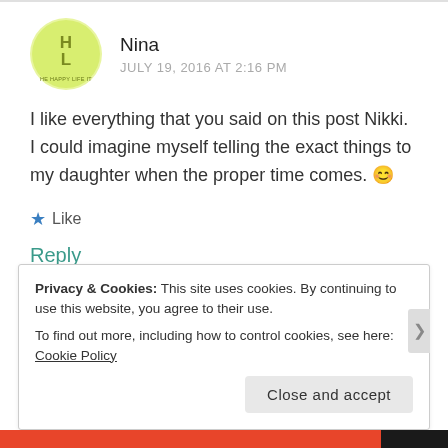[Figure (logo): Circular yellow-green avatar with 'HE HAPPY LIFE IT' text and stylized HL logo]
Nina
JULY 19, 2016 AT 2:16 PM
I like everything that you said on this post Nikki. I could imagine myself telling the exact things to my daughter when the proper time comes. 😊
★ Like
Reply
Privacy & Cookies: This site uses cookies. By continuing to use this website, you agree to their use.
To find out more, including how to control cookies, see here: Cookie Policy
Close and accept